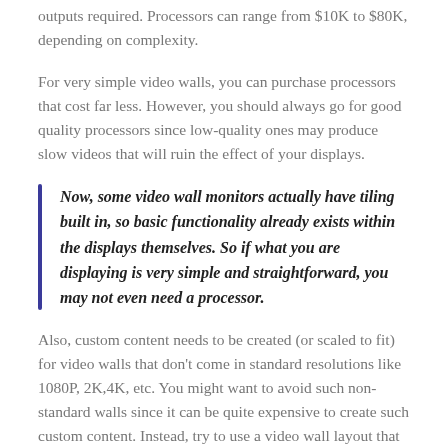outputs required. Processors can range from $10K to $80K, depending on complexity.
For very simple video walls, you can purchase processors that cost far less. However, you should always go for good quality processors since low-quality ones may produce slow videos that will ruin the effect of your displays.
Now, some video wall monitors actually have tiling built in, so basic functionality already exists within the displays themselves. So if what you are displaying is very simple and straightforward, you may not even need a processor.
Also, custom content needs to be created (or scaled to fit) for video walls that don't come in standard resolutions like 1080P, 2K,4K, etc. You might want to avoid such non-standard walls since it can be quite expensive to create such custom content. Instead, try to use a video wall layout that maintains standard aspect ratios. For LED walls, this means